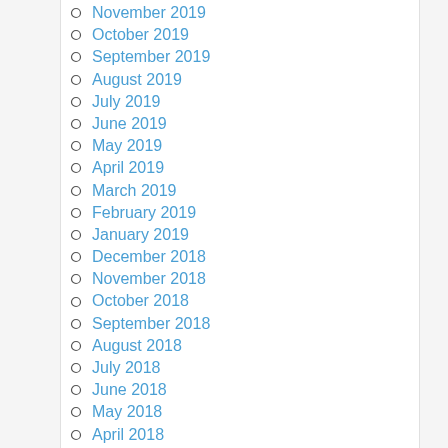November 2019
October 2019
September 2019
August 2019
July 2019
June 2019
May 2019
April 2019
March 2019
February 2019
January 2019
December 2018
November 2018
October 2018
September 2018
August 2018
July 2018
June 2018
May 2018
April 2018